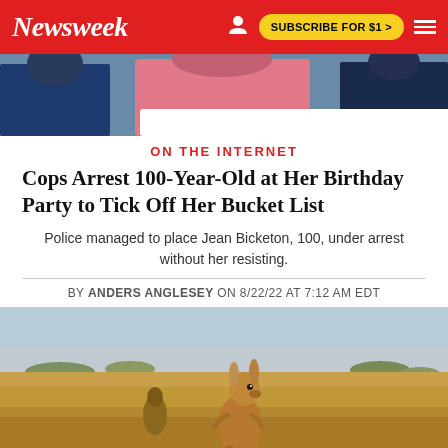Newsweek | SUBSCRIBE FOR $1 >
[Figure (photo): Top of article image showing people, partially cropped, with a white overlay at bottom]
ON THE INTERNET
Cops Arrest 100-Year-Old at Her Birthday Party to Tick Off Her Bucket List
Police managed to place Jean Bicketon, 100, under arrest without her resisting.
BY ANDERS ANGLESEY ON 8/22/22 AT 7:12 AM EDT
[Figure (photo): Photo of a kangaroo standing in a dry Australian outback landscape with scrub and blue sky]